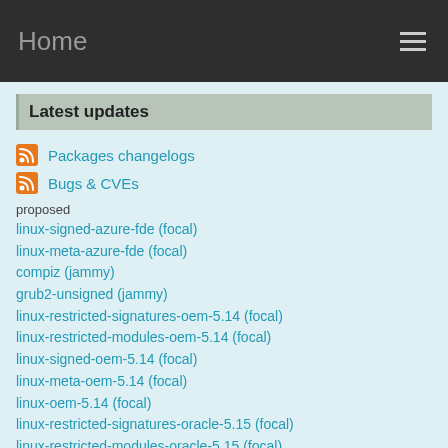Home
Latest updates
Packages changelogs
Bugs & CVEs
proposed
linux-signed-azure-fde (focal)
linux-meta-azure-fde (focal)
compiz (jammy)
grub2-unsigned (jammy)
linux-restricted-signatures-oem-5.14 (focal)
linux-restricted-modules-oem-5.14 (focal)
linux-signed-oem-5.14 (focal)
linux-meta-oem-5.14 (focal)
linux-oem-5.14 (focal)
linux-restricted-signatures-oracle-5.15 (focal)
linux-restricted-modules-oracle-5.15 (focal)
linux-signed-oracle-5.15 (focal)
linux-oracle-5.15 (focal)
base-files (focal)